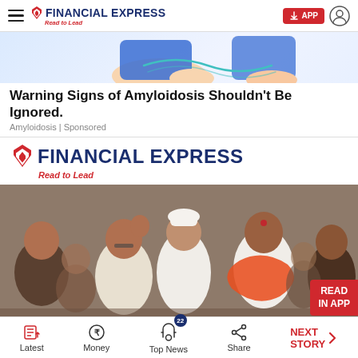Financial Express — Read to Lead
[Figure (illustration): Partial illustration showing a hand/arm, cropped at the top of the ad area]
Warning Signs of Amyloidosis Shouldn't Be Ignored.
Amyloidosis | Sponsored
[Figure (logo): Financial Express logo — Read to Lead]
[Figure (photo): Group photo of Indian politicians including Eknath Shinde and others at what appears to be an event; one person wearing saffron scarf, READ IN APP badge in bottom-right corner]
Latest | Money | Top News 22 | Share | NEXT STORY